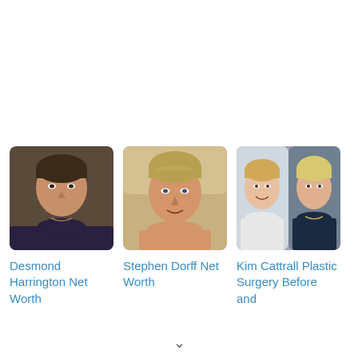[Figure (photo): Photo of Desmond Harrington – a man with dark hair, stubble, wearing a dark shirt, smiling]
Desmond Harrington Net Worth
[Figure (photo): Photo of Stephen Dorff – a man with short blonde hair, shirtless, looking at the camera]
Stephen Dorff Net Worth
[Figure (photo): Side-by-side photos of Kim Cattrall – younger version smiling in white outfit and older version in dark dress]
Kim Cattrall Plastic Surgery Before and